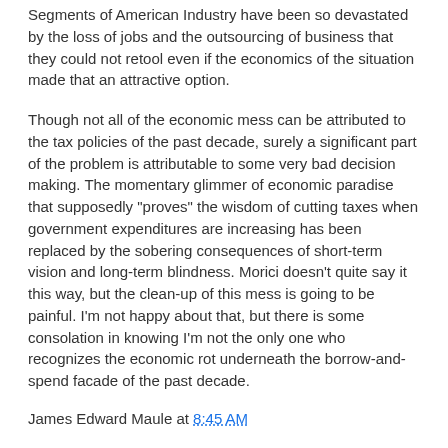Segments of American Industry have been so devastated by the loss of jobs and the outsourcing of business that they could not retool even if the economics of the situation made that an attractive option.
Though not all of the economic mess can be attributed to the tax policies of the past decade, surely a significant part of the problem is attributable to some very bad decision making. The momentary glimmer of economic paradise that supposedly "proves" the wisdom of cutting taxes when government expenditures are increasing has been replaced by the sobering consequences of short-term vision and long-term blindness. Morici doesn't quite say it this way, but the clean-up of this mess is going to be painful. I'm not happy about that, but there is some consolation in knowing I'm not the only one who recognizes the economic rot underneath the borrow-and-spend facade of the past decade.
James Edward Maule at 8:45 AM
Share